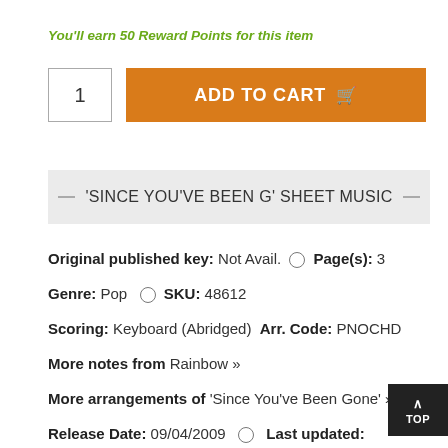You'll earn 50 Reward Points for this item
1  ADD TO CART
'SINCE YOU'VE BEEN G' SHEET MUSIC
Original published key: Not Avail.  Page(s): 3
Genre: Pop  SKU: 48612
Scoring: Keyboard (Abridged)  Arr. Code: PNOCHD
More notes from Rainbow »
More arrangements of 'Since You've Been Gone' »
Release Date: 09/04/2009  Last updated: 03/09/2020